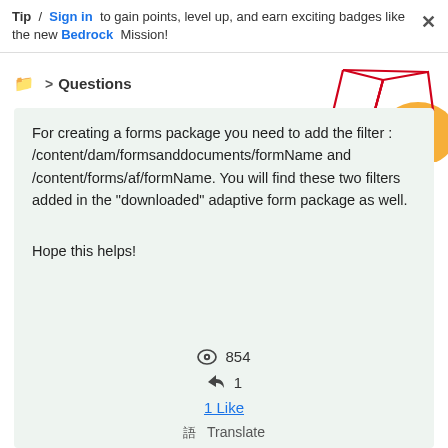Tip / Sign in to gain points, level up, and earn exciting badges like the new Bedrock Mission!
Questions
[Figure (illustration): Decorative geometric graphic with red polygon lines and orange circle in top right corner]
For creating a forms package you need to add the filter : /content/dam/formsanddocuments/formName and /content/forms/af/formName. You will find these two filters added in the "downloaded" adaptive form package as well.
Hope this helps!
854
1
1 Like
Translate